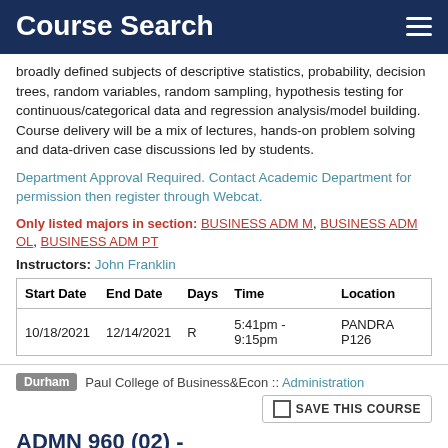Course Search
broadly defined subjects of descriptive statistics, probability, decision trees, random variables, random sampling, hypothesis testing for continuous/categorical data and regression analysis/model building. Course delivery will be a mix of lectures, hands-on problem solving and data-driven case discussions led by students.
Department Approval Required. Contact Academic Department for permission then register through Webcat.
Only listed majors in section: BUSINESS ADM M, BUSINESS ADM OL, BUSINESS ADM PT
Instructors: John Franklin
| Start Date | End Date | Days | Time | Location |
| --- | --- | --- | --- | --- |
| 10/18/2021 | 12/14/2021 | R | 5:41pm - 9:15pm | PANDRA P126 |
Durham  Paul College of Business&Econ :: Administration
SAVE THIS COURSE
ADMN 960 (02) - MARKETING/BUILDING